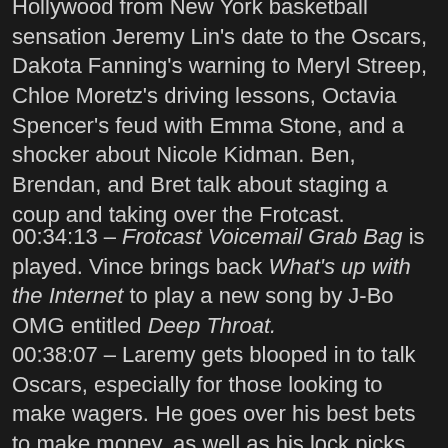Darley brings all the hottest gossip out of Hollywood from New York basketball sensation Jeremy Lin's date to the Oscars, Dakota Fanning's warning to Meryl Streep, Chloe Moretz's driving lessons, Octavia Spencer's feud with Emma Stone, and a shocker about Nicole Kidman. Ben, Brendan, and Bret talk about staging a coup and taking over the Frotcast.
00:34:13 – Frotcast Voicemail Grab Bag is played. Vince brings back What's up with the Internet to play a new song by J-Bo OMG entitled Deep Throat.
00:38:07 – Laremy gets blooped in to talk Oscars, especially for those looking to make wagers. He goes over his best bets to make money, as well as his lock picks for the top categories. The discussion veers off to George Clooney f*cking with Andy Serkis, bumbaclot